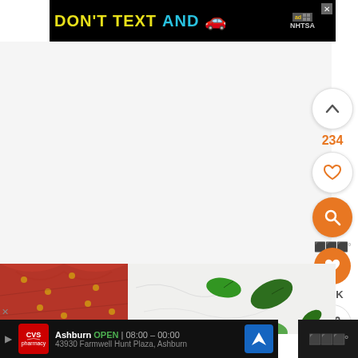[Figure (screenshot): Ad banner: DON'T TEXT AND [car emoji] ad, NHTSA, with close button]
[Figure (screenshot): White/light gray empty content area]
[Figure (screenshot): Right sidebar with upvote button (up chevron), count 234, heart/like button, orange search button, WW logo dots, orange heart button, 9.5K count, share button]
[Figure (photo): Partial photo of red fabric with gold dots on left, green basil leaves on white marble surface on right]
[Figure (screenshot): Bottom ad banner: CVS Pharmacy, Ashburn OPEN 08:00-00:00, 43930 Farmwell Hunt Plaza Ashburn, navigation button]
[Figure (screenshot): Bottom right dark area with WW logo in gray/silver]